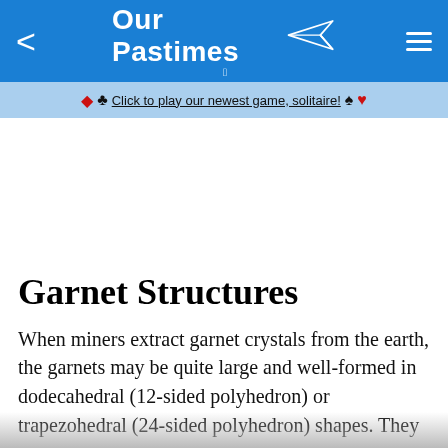Our Pastimes
♦ ♣ Click to play our newest game, solitaire! ♠ ♥
Garnet Structures
When miners extract garnet crystals from the earth, the garnets may be quite large and well-formed in dodecahedral (12-sided polyhedron) or trapezohedral (24-sided polyhedron) shapes. They